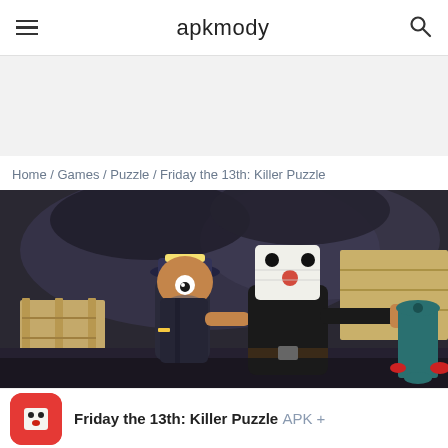apkmody
Home / Games / Puzzle / Friday the 13th: Killer Puzzle
[Figure (screenshot): Game screenshot of Friday the 13th: Killer Puzzle showing Jason Voorhees in hockey mask and black outfit pointing at a scared sea captain character, with wooden dock and anchor elements in background.]
Friday the 13th: Killer Puzzle APK +